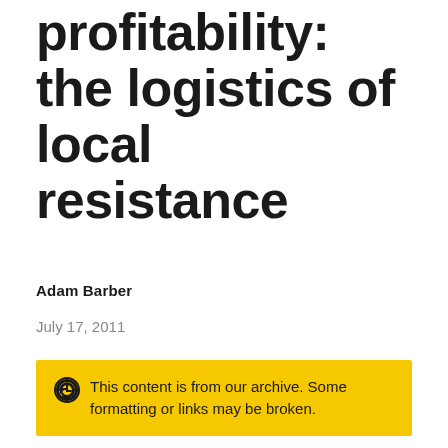profitability: the logistics of local resistance
Adam Barber
July 17, 2011
This content is from our archive. Some formatting or links may be broken.
Local resistance to wind power has been identified as one of the biggest barriers to accelerating UK wind turbine